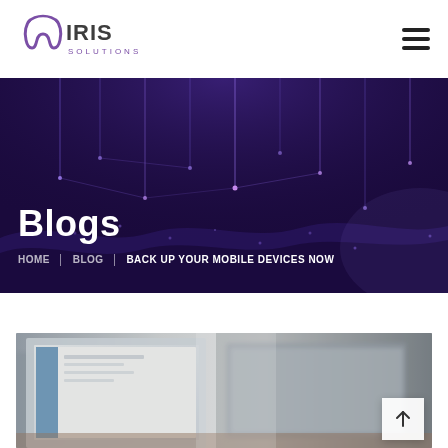[Figure (logo): IRIS Solutions logo with tooth/iris icon in purple and grey text]
[Figure (infographic): Hamburger menu icon (three horizontal lines)]
[Figure (photo): Dark purple digital/data visualization hero banner with glowing particle network]
Blogs
HOME  BLOG  BACK UP YOUR MOBILE DEVICES NOW
[Figure (photo): Blurred photo of computer monitors/screens on a desk, warm tones]
[Figure (infographic): Scroll-to-top button with upward arrow]